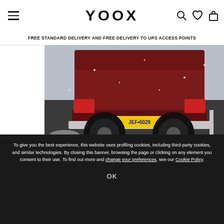YOOX
FREE STANDARD DELIVERY AND FREE DELIVERY TO UPS ACCESS POINTS
[Figure (photo): Rear view of a dark red pickup truck on a snowy road with license plate JEF-6029, snow falling, winter scene]
To give you the best experience, this website uses profiling cookies, including third-party cookies, and similar technologies. By closing this banner, browsing the page or clicking on any element you consent to their use. To find out more and change your preferences, see our Cookie Policy.
OK